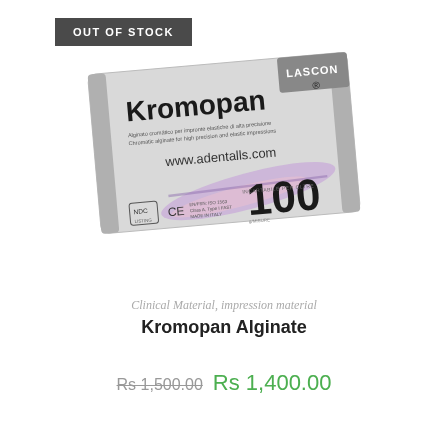OUT OF STOCK
[Figure (photo): Product photo of Kromopan Alginate dental impression material package, a silver/grey bag with Kromopan brand name prominently displayed, LASCOD logo, color indicator feather graphic, www.adentalls.com website, CE mark, NDC mark, '100' printed large, and small regulatory text. Package is tilted slightly.]
Clinical Material, impression material
Kromopan Alginate
Rs 1,500.00  Rs 1,400.00